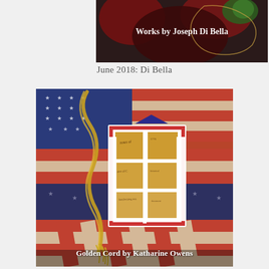[Figure (photo): A photograph of artwork titled 'Works by Joseph Di Bella' — dark abstract/textural artwork with overlay text]
June 2018: Di Bella
[Figure (photo): A photograph of artwork titled 'Golden Cord by Katharine Owens' — a quilted American flag scene with a small framed window piece showing historical documents, and a golden braided cord with wheat stalks]